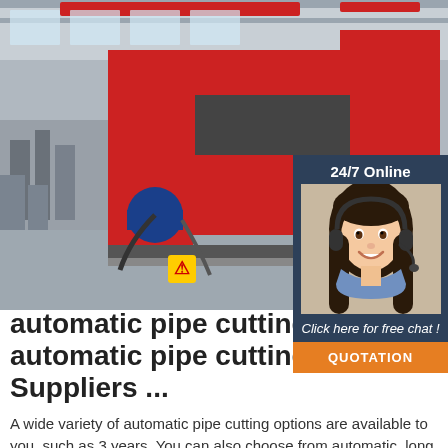[Figure (photo): Industrial automatic pipe cutting machine in a factory setting. Large red metal frame CNC pipe cutting machine on a production floor with overhead cranes visible.]
[Figure (photo): 24/7 Online chat widget overlay showing a smiling woman with headset, dark background, text 'Click here for free chat!' and orange QUOTATION button.]
automatic pipe cutting, automatic pipe cutting Suppliers ...
A wide variety of automatic pipe cutting options are available to you, such as 3 years. You can also choose from automatic, long service life, and